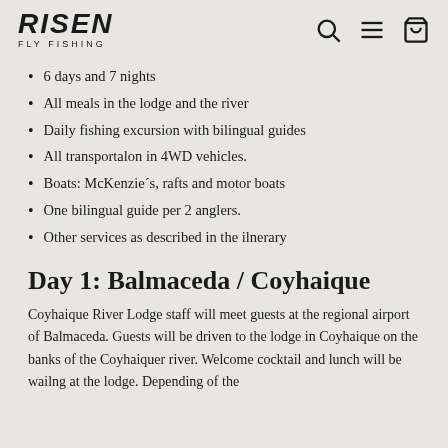RISEN FLY FISHING
6 days and 7 nights
All meals in the lodge and the river
Daily fishing excursion with bilingual guides
All transportalon in 4WD vehicles.
Boats: McKenzie´s, rafts and motor boats
One bilingual guide per 2 anglers.
Other services as described in the ilnerary
Day 1: Balmaceda / Coyhaique
Coyhaique River Lodge staff will meet guests at the regional airport of Balmaceda. Guests will be driven to the lodge in Coyhaique on the banks of the Coyhaiquer river. Welcome cocktail and lunch will be wailng at the lodge. Depending of the